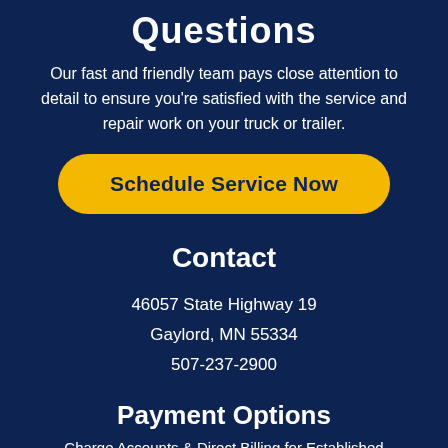Questions
Our fast and friendly team pays close attention to detail to ensure you're satisfied with the service and repair work on your truck or trailer.
Schedule Service Now
Contact
46057 State Highway 19
Gaylord, MN 55334
507-237-2900
Payment Options
Charge Accounts & Direct Billing for Established